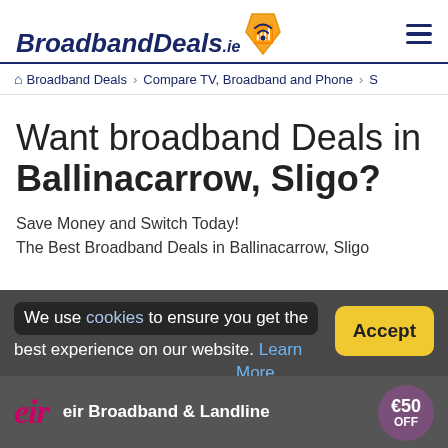BroadbandDeals.ie
Broadband Deals > Compare TV, Broadband and Phone > S
Want broadband Deals in Ballinacarrow, Sligo?
Save Money and Switch Today!
The Best Broadband Deals in Ballinacarrow, Sligo
We use cookies to ensure you get the best experience on our website. Learn More
Accept
eir Broadband & Landline